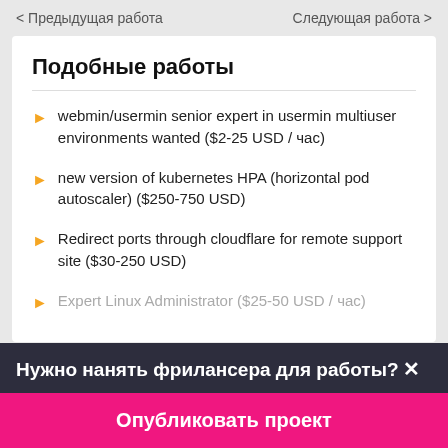< Предыдущая работа    Следующая работа >
Подобные работы
webmin/usermin senior expert in usermin multiuser environments wanted ($2-25 USD / час)
new version of kubernetes HPA (horizontal pod autoscaler) ($250-750 USD)
Redirect ports through cloudflare for remote support site ($30-250 USD)
Expert Linux Administrator ($25-50 USD / час)
Нужно нанять фрилансера для работы?✕
Опубликовать проект